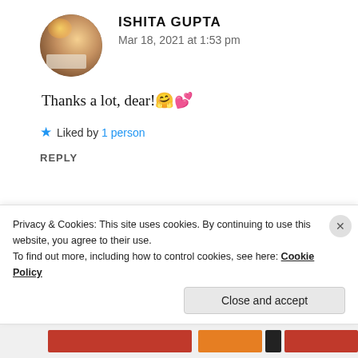[Figure (photo): Circular avatar photo of Ishita Gupta with bokeh lights background]
ISHITA GUPTA
Mar 18, 2021 at 1:53 pm
Thanks a lot, dear! 🤗 💕
★ Liked by 1 person
REPLY
[Figure (photo): Circular avatar photo of Shristy Singh]
SHRISTY SINGH
Privacy & Cookies: This site uses cookies. By continuing to use this website, you agree to their use.
To find out more, including how to control cookies, see here: Cookie Policy
Close and accept